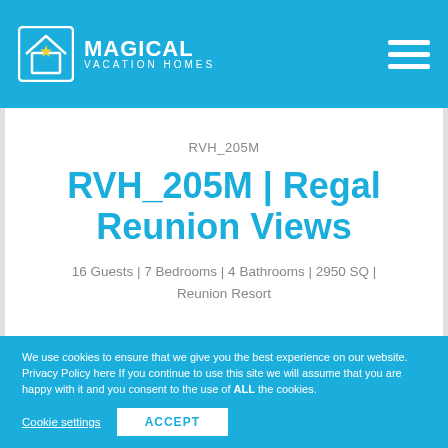MAGICAL VACATION HOMES
RVH_205M
RVH_205M | Regal Reunion Views
16 Guests | 7 Bedrooms | 4 Bathrooms | 2950 SQ | Reunion Resort
We use cookies to ensure that we give you the best experience on our website. Privacy Policy here If you continue to use this site we will assume that you are happy with it and you consent to the use of ALL the cookies.
Cookie settings
ACCEPT